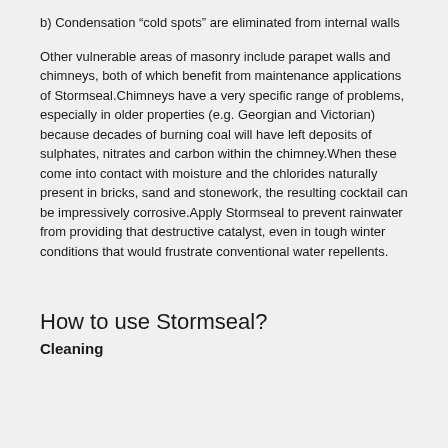b) Condensation “cold spots” are eliminated from internal walls
Other vulnerable areas of masonry include parapet walls and chimneys, both of which benefit from maintenance applications of Stormseal.Chimneys have a very specific range of problems, especially in older properties (e.g. Georgian and Victorian) because decades of burning coal will have left deposits of sulphates, nitrates and carbon within the chimney.When these come into contact with moisture and the chlorides naturally present in bricks, sand and stonework, the resulting cocktail can be impressively corrosive.Apply Stormseal to prevent rainwater from providing that destructive catalyst, even in tough winter conditions that would frustrate conventional water repellents.
How to use Stormseal?
Cleaning